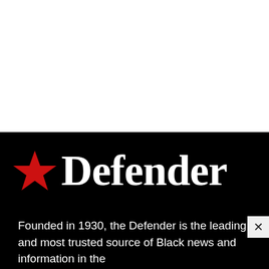[Figure (logo): Defender newspaper logo — red star followed by 'Defender' in large white bold serif font on black background]
Founded in 1930, the Defender is the leading and most trusted source of Black news and information in the
[Figure (infographic): Free COVID Vaccinations advertisement banner — No Appointment, No Insurance, No ID, No Payment. Find a Location. VAX HOU logos.]